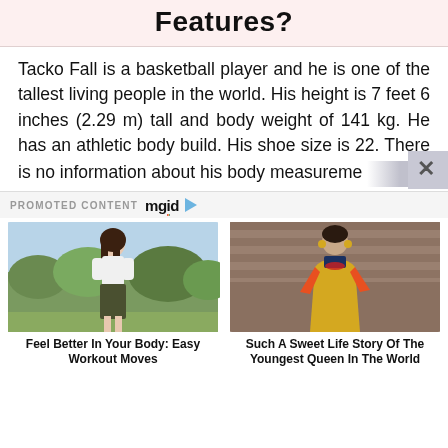Features?
Tacko Fall is a basketball player and he is one of the tallest living people in the world. His height is 7 feet 6 inches (2.29 m) tall and body weight of 141 kg. He has an athletic body build. His shoe size is 22. There is no information about his body measureme
PROMOTED CONTENT mgid
[Figure (photo): Photo of a woman in a white long-sleeve shirt and dark skirt outdoors with trees]
Feel Better In Your Body: Easy Workout Moves
[Figure (photo): Photo of a woman in traditional Bhutanese yellow/gold dress with jewelry, in front of a stone building]
Such A Sweet Life Story Of The Youngest Queen In The World